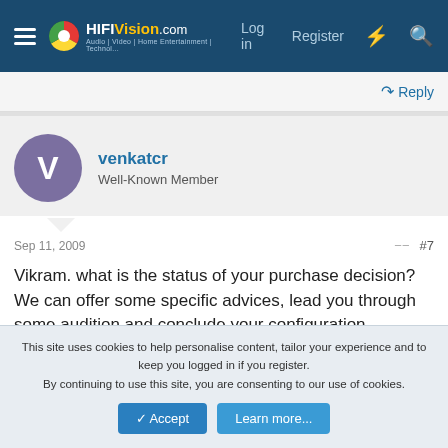HiFiVision.com — Log in | Register
Reply
venkatcr
Well-Known Member
Sep 11, 2009  #7
Vikram. what is the status of your purchase decision? We can offer some specific advices, lead you through some audition and conclude your configuration.

You have ample budget and I am sure you can have a good system for yourself.
This site uses cookies to help personalise content, tailor your experience and to keep you logged in if you register.
By continuing to use this site, you are consenting to our use of cookies.
Accept  Learn more...